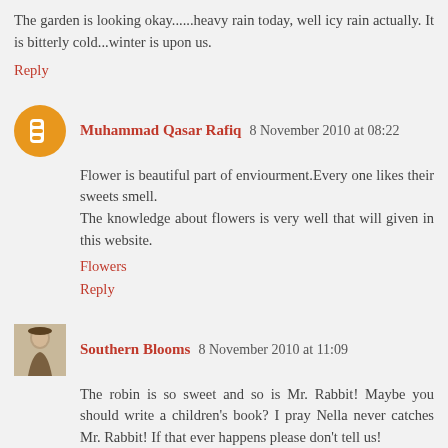The garden is looking okay......heavy rain today, well icy rain actually. It is bitterly cold...winter is upon us.
Reply
Muhammad Qasar Rafiq  8 November 2010 at 08:22
Flower is beautiful part of enviourment.Every one likes their sweets smell.
The knowledge about flowers is very well that will given in this website.
Flowers
Reply
Southern Blooms  8 November 2010 at 11:09
The robin is so sweet and so is Mr. Rabbit! Maybe you should write a children's book? I pray Nella never catches Mr. Rabbit! If that ever happens please don't tell us!
I have to laugh a bit that you can't ride a bicycle? It's really hard to believe. But I will believe if you say so hahH...